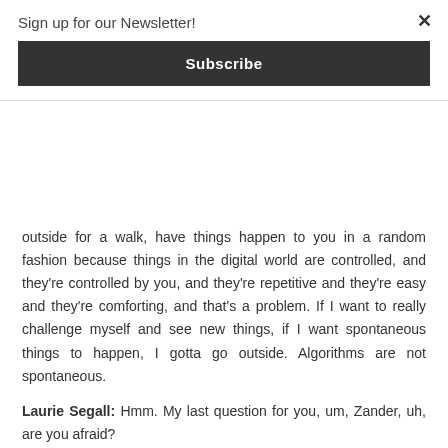Sign up for our Newsletter!
Subscribe
outside for a walk, have things happen to you in a random fashion because things in the digital world are controlled, and they're controlled by you, and they're repetitive and they're easy and they're comforting, and that's a problem. If I want to really challenge myself and see new things, if I want spontaneous things to happen, I gotta go outside. Algorithms are not spontaneous.
Laurie Segall: Hmm. My last question for you, um, Zander, uh, are you afraid?
Zander Shapiro: Oh yeah, I'm afraid all the time. I like fear. I mean, fear for me is really important. That's one of the things that I hate when I go back to the states is that people aren't